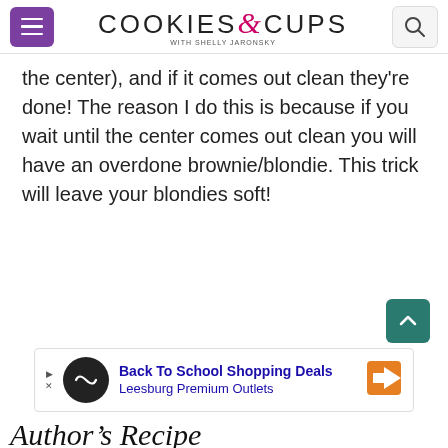COOKIES & CUPS with Shelly Jaronsky
the center), and if it comes out clean they're done! The reason I do this is because if you wait until the center comes out clean you will have an overdone brownie/blondie. This trick will leave your blondies soft!
[Figure (screenshot): Back To School Shopping Deals - Leesburg Premium Outlets advertisement banner]
Author's Note Recipe